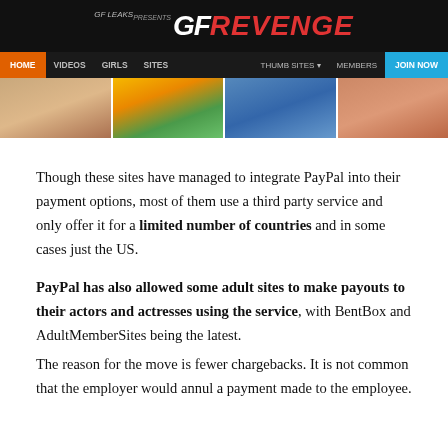GF Leaks presents GF REVENGE — navigation: HOME VIDEOS GIRLS SITES | THUMB SITES MEMBERS JOIN NOW
[Figure (photo): Four thumbnail photos from the website showing various scenes]
Though these sites have managed to integrate PayPal into their payment options, most of them use a third party service and only offer it for a limited number of countries and in some cases just the US.
PayPal has also allowed some adult sites to make payouts to their actors and actresses using the service, with BentBox and AdultMemberSites being the latest.
The reason for the move is fewer chargebacks. It is not common that the employer would annul a payment made to the employee.